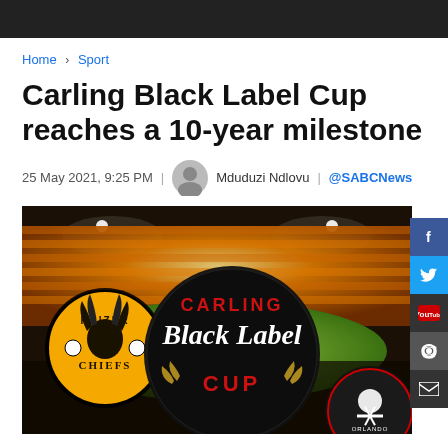Home > Sport
Carling Black Label Cup reaches a 10-year milestone
25 May 2021, 9:25 PM | Mduduzi Ndlovu | @SABCNews
[Figure (photo): Carling Black Label Cup promotional image featuring Kaizer Chiefs and Orlando Pirates logos over a stadium background]